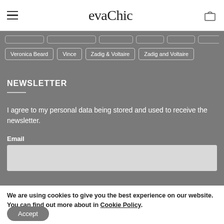evaChic
Veronica Beard | Vince | Zadig & Voltaire | Zadig and Voltaire
NEWSLETTER
I agree to my personal data being stored and used to receive the newsletter.
Email
We are using cookies to give you the best experience on our website. You can find out more about in Cookie Policy.
Accept